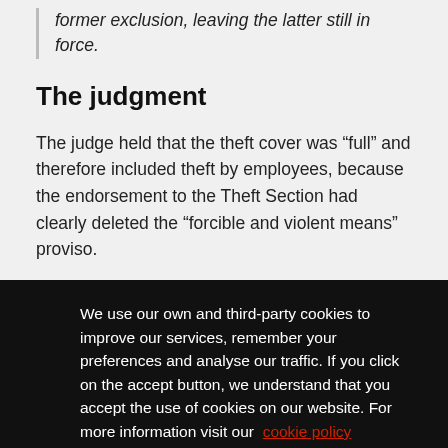former exclusion, leaving the latter still in force.
The judgment
The judge held that the theft cover was “full” and therefore included theft by employees, because the endorsement to the Theft Section had clearly deleted the “forcible and violent means” proviso.
Although Ted Baker had not decided to take out the fidelity cover available within the policy that could not be interpreted as necessarily meaning that it did not want protection against employee theft, the judge held. Furthermore, AXA’s contention that it was market practice
We use our own and third-party cookies to improve our services, remember your preferences and analyse our traffic. If you click on the accept button, we understand that you accept the use of cookies on our website. For more information visit our cookie policy